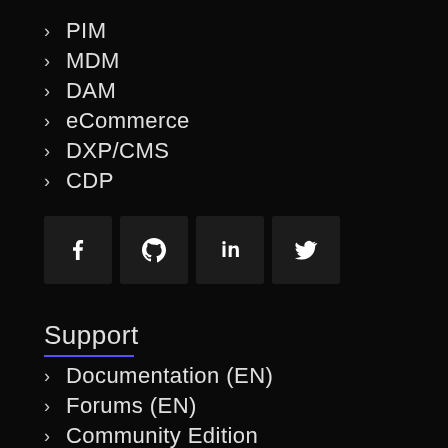PIM
MDM
DAM
eCommerce
DXP/CMS
CDP
[Figure (infographic): Social media icon buttons for Facebook, GitHub, LinkedIn, and Twitter on dark backgrounds]
Support
Documentation (EN)
Forums (EN)
Community Edition